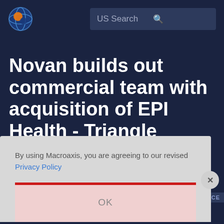[Figure (logo): Macroaxis globe logo with orange and blue swirl design]
US Search
Novan builds out commercial team with acquisition of EPI Health - Triangle Business Journal - The Business
By using Macroaxis, you are agreeing to our revised Privacy Policy
OK
Home  Portfolio  Watchlist  Risk  Sentiment  Compa...